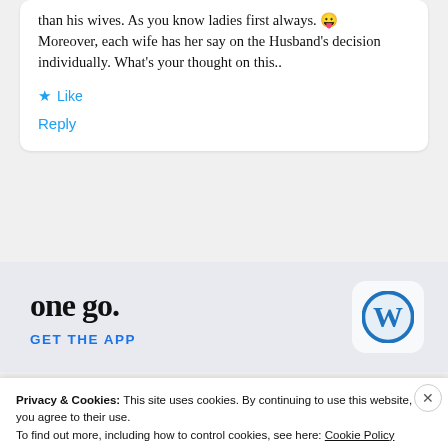than his wives. As you know ladies first always. 😛 Moreover, each wife has her say on the Husband's decision individually. What's your thought on this..
★ Like
Reply
one go.
GET THE APP
[Figure (logo): WordPress logo icon in a rounded square box]
Privacy & Cookies: This site uses cookies. By continuing to use this website, you agree to their use.
To find out more, including how to control cookies, see here: Cookie Policy
Close and accept